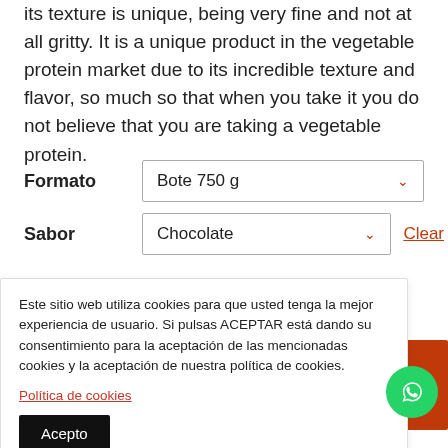its texture is unique, being very fine and not at all gritty. It is a unique product in the vegetable protein market due to its incredible texture and flavor, so much so that when you take it you do not believe that you are taking a vegetable protein.
Formato: Bote 750 g
Sabor: Chocolate
Este sitio web utiliza cookies para que usted tenga la mejor experiencia de usuario. Si pulsas ACEPTAR está dando su consentimiento para la aceptación de las mencionadas cookies y la aceptación de nuestra política de cookies.
Política de cookies
Acepto
CART
Express shipping to all Europe in 48h